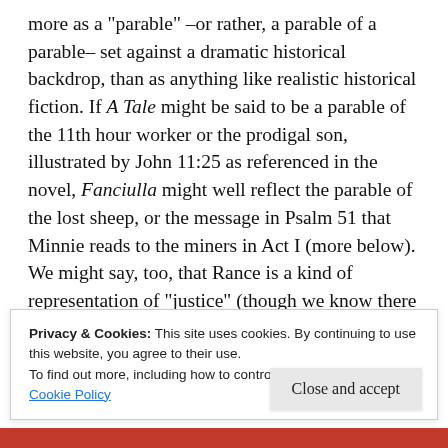more as a "parable" –or rather, a parable of a parable– set against a dramatic historical backdrop, than as anything like realistic historical fiction. If A Tale might be said to be a parable of the 11th hour worker or the prodigal son, illustrated by John 11:25 as referenced in the novel, Fanciulla might well reflect the parable of the lost sheep, or the message in Psalm 51 that Minnie reads to the miners in Act I (more below). We might say, too, that Rance is a kind of representation of "justice" (though we know there are personal motives in his hatred of Johnson as well) in contrast to the "mercy" of Minnie, who, like God himself, loves the sinner, the
Privacy & Cookies: This site uses cookies. By continuing to use this website, you agree to their use.
To find out more, including how to control cookies, see here: Cookie Policy
Close and accept